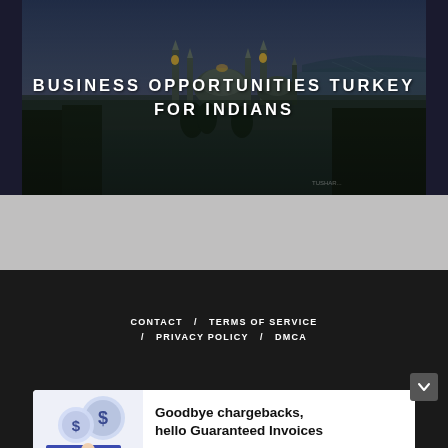[Figure (photo): Aerial/twilight photo of Istanbul cityscape featuring the Blue Mosque and Hagia Sophia with the Bosphorus in the background, overlaid with bold white uppercase text 'BUSINESS OPPORTUNITIES TURKEY FOR INDIANS']
BUSINESS OPPORTUNITIES TURKEY FOR INDIANS
CONTACT / TERMS OF SERVICE / PRIVACY POLICY / DMCA
[Figure (illustration): Advertisement banner: illustration of person with credit card and coins on left; text 'Goodbye chargebacks, hello Guaranteed Invoices' with 'InstoBank' brand and 'Try for free' CTA on right]